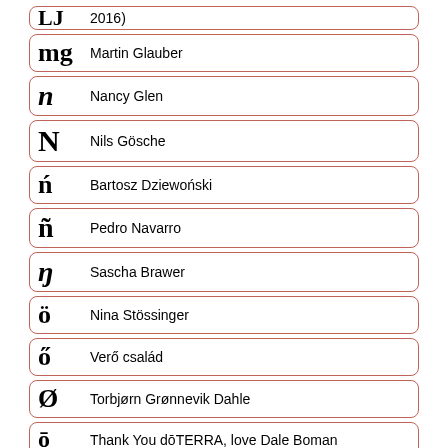LJ  2016)
mg  Martin Glauber
n  Nancy Glen
N  Nils Gösche
ń  Bartosz Dziewoński
ñ  Pedro Navarro
ŋ  Sascha Brawer
ö  Nina Stössinger
ő  Verő család
Ø  Torbjørn Grønnevik Dahle
ō  Thank You dōTERRA, love Dale Boman
Š  sonderzeichen.com